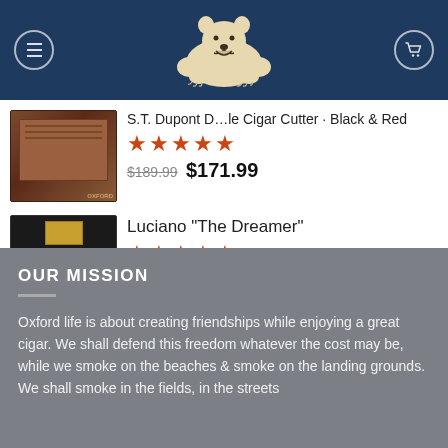Navigation bar with bear logo, menu icon, and cart icon
$16.45 – $227.50
S.T. Dupont D... le Cigar Cutter · Black & Red
★★★★★
$189.99  $171.99
Luciano "The Dreamer"
★★★★★
$15.00 – $202.50
OUR MISSION
Oxford life is about creating friendships while enjoying a great cigar. We shall defend this freedom whatever the cost may be, while we smoke on the beaches & smoke on the landing grounds.  We shall smoke in the fields, in the streets